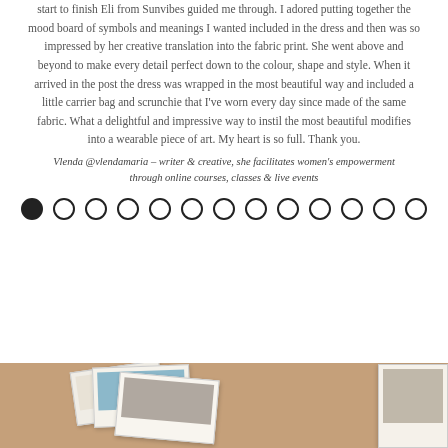start to finish Eli from Sunvibes guided me through. I adored putting together the mood board of symbols and meanings I wanted included in the dress and then was so impressed by her creative translation into the fabric print. She went above and beyond to make every detail perfect down to the colour, shape and style. When it arrived in the post the dress was wrapped in the most beautiful way and included a little carrier bag and scrunchie that I've worn every day since made of the same fabric. What a delightful and impressive way to instil the most beautiful modifies into a wearable piece of art. My heart is so full. Thank you.
Vlenda @vlendamaria – writer & creative, she facilitates women's empowerment through online courses, classes & live events
[Figure (other): A row of 13 circular dot/pagination indicators; the first (leftmost) is filled black, the remaining 12 are hollow (outline only).]
[Figure (photo): Bottom section with tan/kraft paper background and overlapping Polaroid-style photo cards showing images, partially visible.]